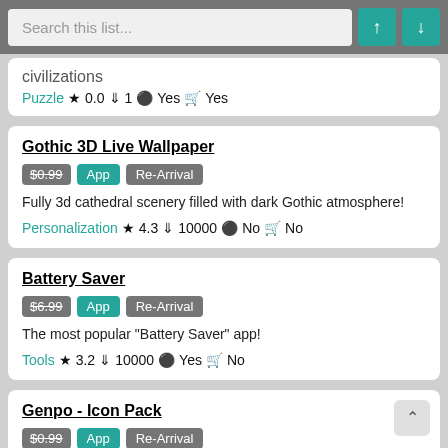Search this list...
civilizations
Puzzle ★ 0.0 ↓ 1 ● Yes 🛒 Yes
Gothic 3D Live Wallpaper
$0.99 App Re-Arrival
Fully 3d cathedral scenery filled with dark Gothic atmosphere!
Personalization ★ 4.3 ↓ 10000 ● No 🛒 No
Battery Saver
$6.99 App Re-Arrival
The most popular "Battery Saver" app!
Tools ★ 3.2 ↓ 10000 ● Yes 🛒 No
Genpo - Icon Pack
$0.99 App Re-Arrival